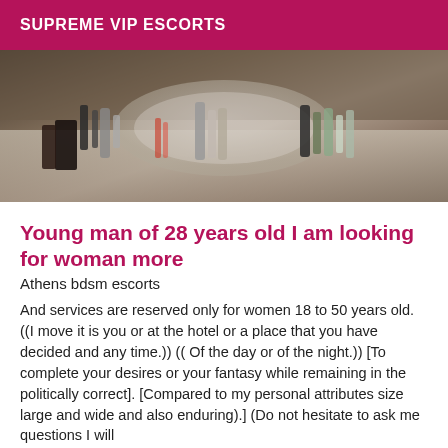SUPREME VIP ESCORTS
[Figure (photo): Photo of a bathroom counter with various toiletry bottles and a sink]
Young man of 28 years old I am looking for woman more
Athens bdsm escorts
And services are reserved only for women 18 to 50 years old. ((I move it is you or at the hotel or a place that you have decided and any time.)) (( Of the day or of the night.)) [To complete your desires or your fantasy while remaining in the politically correct]. [Compared to my personal attributes size large and wide and also enduring).] (Do not hesitate to ask me questions I will